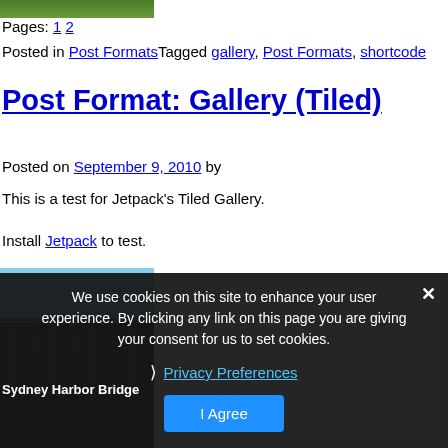[Figure (photo): Partial green image at top]
Pages: 1 2
Posted in Post FormatsTagged gallery, Post Formats, shortcode
Post Format: Gallery (Tiled)
Posted on September 9, 2010 by
This is a test for Jetpack's Tiled Gallery.
Install Jetpack to test.
[Figure (photo): Sydney Harbor Bridge photo with blue sky and dark bridge structure]
Sydney Harbor Bridge
We use cookies on this site to enhance your user experience. By clicking any link on this page you are giving your consent for us to set cookies.
Privacy Preferences
I Agree